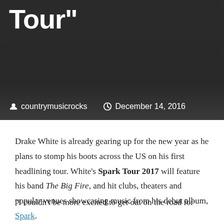[Figure (photo): Dark background photo of a person outdoors, with title text 'Tour”' overlaid in large white bold font, and metadata showing author 'countrymusicrocks' and date 'December 14, 2016']
Drake White is already gearing up for the new year as he plans to stomp his boots across the US on his first headlining tour. White’s Spark Tour 2017 will feature his band The Big Fire, and hit clubs, theaters and popular venues showcasing music from his debut album, Spark.
“I couldn’t be more excited to get out on the road for